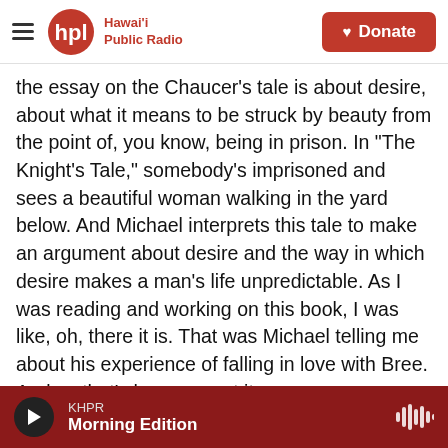Hawai'i Public Radio | Donate
the essay on the Chaucer's tale is about desire, about what it means to be struck by beauty from the point of, you know, being in prison. In "The Knight's Tale," somebody's imprisoned and sees a beautiful woman walking in the yard below. And Michael interprets this tale to make an argument about desire and the way in which desire makes a man's life unpredictable. As I was reading and working on this book, I was like, oh, there it is. That was Michael telling me about his experience of falling in love with Bree. And so that's how you get it.
KHPR Morning Edition